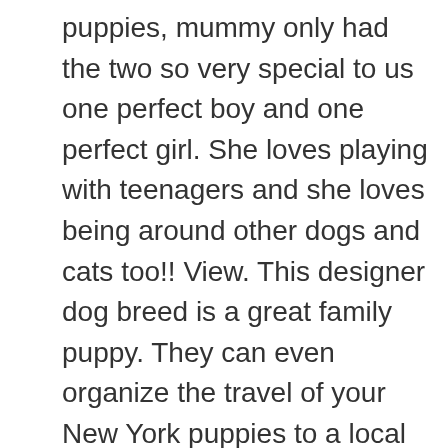puppies, mummy only had the two so very special to us one perfect boy and one perfect girl. She loves playing with teenagers and she loves being around other dogs and cats too!! View. This designer dog breed is a great family puppy. They can even organize the travel of your New York puppies to a local major airport, making the whole process more convenient for you. Patterdale puppies for sale Both mum and dad can be seen mum is black broken coated and dad is smooth chocolate. French Bulldog puppies KC Registered A fantastic litter of 9 born Christmas Eve. Pets4Homes found 5 Cavapoo Dogs and Puppies for sale in York. A beautiful selection of puppies that are ready to be taken into new homes. Westchester Puppies & Kittens 26 South Central Avenue, Hartsdale , Westchester , NY